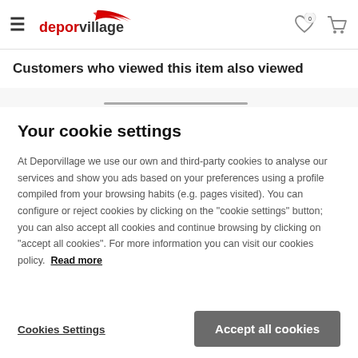deporvillage header with hamburger menu, logo, wishlist and cart icons
Customers who viewed this item also viewed
At Deporvillage we use our own and third-party cookies to analyse our services and show you ads based on your preferences using a profile compiled from your browsing habits (e.g. pages visited). You can configure or reject cookies by clicking on the "cookie settings" button; you can also accept all cookies and continue browsing by clicking on "accept all cookies". For more information you can visit our cookies policy. Read more
Cookies Settings
Accept all cookies